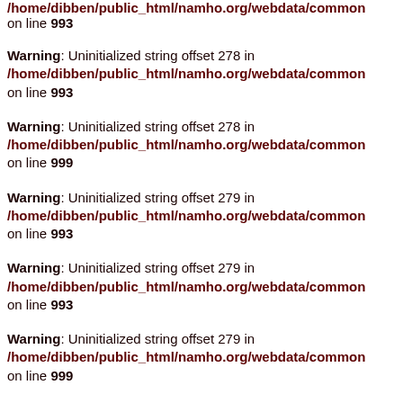/home/dibben/public_html/namho.org/webdata/common... on line 993
Warning: Uninitialized string offset 278 in /home/dibben/public_html/namho.org/webdata/common... on line 993
Warning: Uninitialized string offset 278 in /home/dibben/public_html/namho.org/webdata/common... on line 999
Warning: Uninitialized string offset 279 in /home/dibben/public_html/namho.org/webdata/common... on line 993
Warning: Uninitialized string offset 279 in /home/dibben/public_html/namho.org/webdata/common... on line 993
Warning: Uninitialized string offset 279 in /home/dibben/public_html/namho.org/webdata/common... on line 999
Warning: Uninitialized string offset 280 in /home/dibben/public_html/namho.org/webdata/common... on line 993